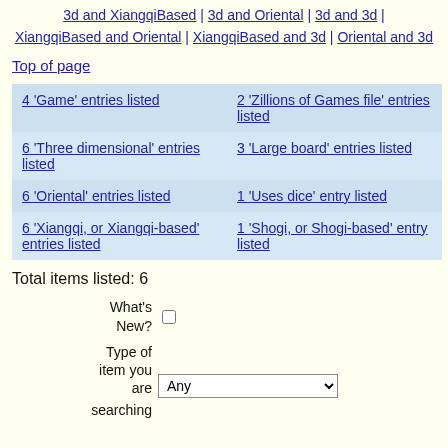3d and XiangqiBased | 3d and Oriental | 3d and 3d | XiangqiBased and Oriental | XiangqiBased and 3d | Oriental and 3d
Top of page
| Col1 | Col2 |
| --- | --- |
| 4 'Game' entries listed | 2 'Zillions of Games file' entries listed |
| 6 'Three dimensional' entries listed | 3 'Large board' entries listed |
| 6 'Oriental' entries listed | 1 'Uses dice' entry listed |
| 6 'Xiangqi, or Xiangqi-based' entries listed | 1 'Shogi, or Shogi-based' entry listed |
Total items listed: 6
What's New? [checkbox] Type of item you are [dropdown: Any] searching